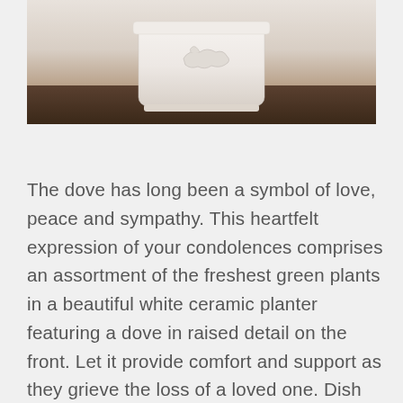[Figure (photo): White ceramic planter with a dove in raised detail on the front, sitting on a dark wooden surface. The planter is photographed from above at a slight angle showing the top and front face.]
The dove has long been a symbol of love, peace and sympathy. This heartfelt expression of your condolences comprises an assortment of the freshest green plants in a beautiful white ceramic planter featuring a dove in raised detail on the front. Let it provide comfort and support as they grieve the loss of a loved one. Dish garden is hand-crafted with the freshest green plants available Can be sent to the home or office of friends